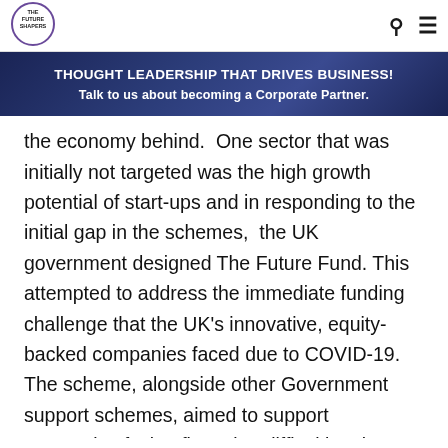THE FUTURE SHAPERS
[Figure (logo): The Future Shapers logo — circular logo with text THE FUTURE SHAPERS]
[Figure (infographic): Banner with dark blue background reading: THOUGHT LEADERSHIP THAT DRIVES BUSINESS! Talk to us about becoming a Corporate Partner.]
the economy behind.  One sector that was initially not targeted was the high growth potential of start-ups and in responding to the initial gap in the schemes,  the UK government designed The Future Fund. This attempted to address the immediate funding challenge that the UK's innovative, equity-backed companies faced due to COVID-19. The scheme, alongside other Government support schemes, aimed to support companies facing financing difficulties due to the Coronavirus outbreak. The Future Fund scheme was delivered by the British Business Bank